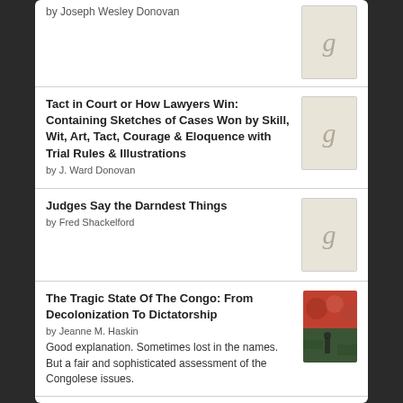by Joseph Wesley Donovan
Tact in Court or How Lawyers Win: Containing Sketches of Cases Won by Skill, Wit, Art, Tact, Courage & Eloquence with Trial Rules & Illustrations
by J. Ward Donovan
Judges Say the Darndest Things
by Fred Shackelford
The Tragic State Of The Congo: From Decolonization To Dictatorship
by Jeanne M. Haskin
Good explanation. Sometimes lost in the names. But a fair and sophisticated assessment of the Congolese issues.
To Katanga and back: A UN case history
by Conor Cruise O'Brien
Quite a humorous personal story.
[Figure (logo): Goodreads logo button with rounded rectangle border]